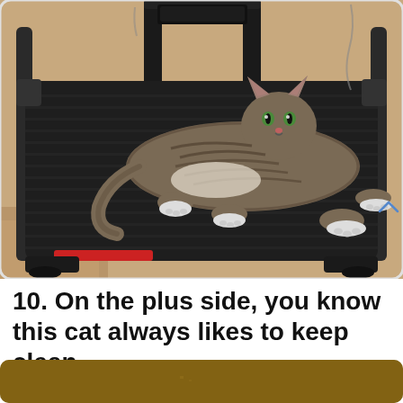[Figure (photo): A tabby cat lying flat and sprawled out on a black treadmill belt, looking at the camera. The treadmill is in a home setting with beige walls and carpet visible.]
10. On the plus side, you know this cat always likes to keep clean.
[Figure (photo): Bottom portion of another image, showing a dark golden/brown background, partially cut off at the bottom of the page.]